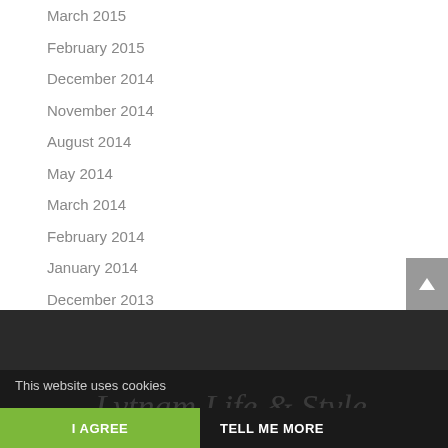March 2015
February 2015
December 2014
November 2014
August 2014
May 2014
March 2014
February 2014
January 2014
December 2013
November 2013
This website uses cookies   I AGREE   TELL ME MORE